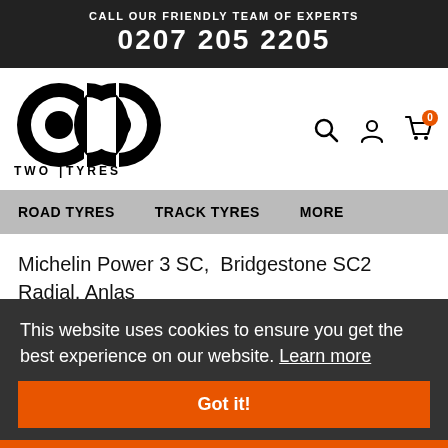CALL OUR FRIENDLY TEAM OF EXPERTS
0207 205 2205
[Figure (logo): Two Tyres logo — two overlapping circles forming an infinity-like shape, with 'TWO | TYRES' text below]
ROAD TYRES   TRACK TYRES   MORE
Michelin Power 3 SC,  Bridgestone SC2 Radial, Anlas Tournee Radial
This website uses cookies to ensure you get the best experience on our website. Learn more
Got it!